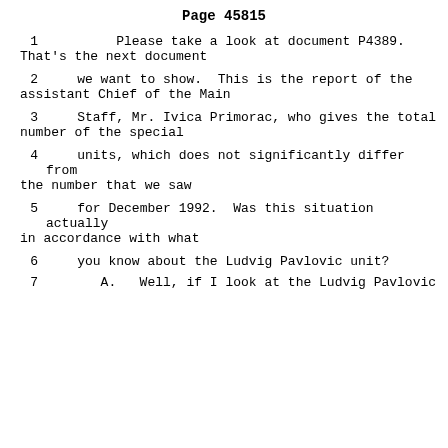Page 45815
1          Please take a look at document P4389. That's the next document
2     we want to show.  This is the report of the assistant Chief of the Main
3     Staff, Mr. Ivica Primorac, who gives the total number of the special
4     units, which does not significantly differ from the number that we saw
5     for December 1992.  Was this situation actually in accordance with what
6     you know about the Ludvig Pavlovic unit?
7        A.   Well, if I look at the Ludvig Pavlovic